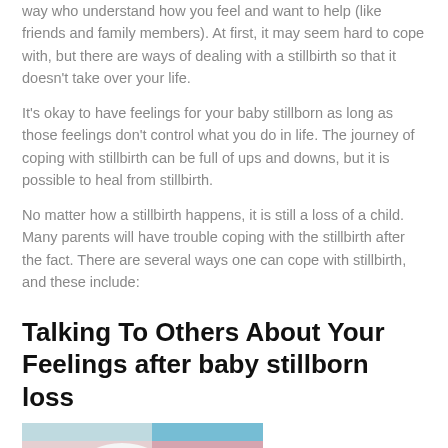way who understand how you feel and want to help (like friends and family members). At first, it may seem hard to cope with, but there are ways of dealing with a stillbirth so that it doesn't take over your life.
It's okay to have feelings for your baby stillborn as long as those feelings don't control what you do in life. The journey of coping with stillbirth can be full of ups and downs, but it is possible to heal from stillbirth.
No matter how a stillbirth happens, it is still a loss of a child. Many parents will have trouble coping with the stillbirth after the fact. There are several ways one can cope with stillbirth, and these include:
Talking To Others About Your Feelings after baby stillborn loss
[Figure (photo): A newborn baby wearing a white knit hat, lying on a striped teal and pink blanket]